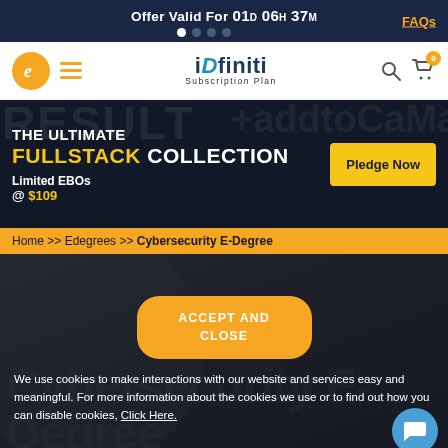Offer Valid For 01D 06H 37M
[Figure (logo): iDfiniti Subscription Plan logo with navigation icons]
[Figure (infographic): The Ultimate Fullstack Collection promo banner — Limited EBOs @ $109, Pledge Now button]
Home >> Edegrees >> Cybersecurity E-Degree
Cybersecurity E-Degree
ACCEPT AND CLOSE
We use cookies to make interactions with our website and services easy and meaningful. For more information about the cookies we use or to find out how you can disable cookies, Click Here.